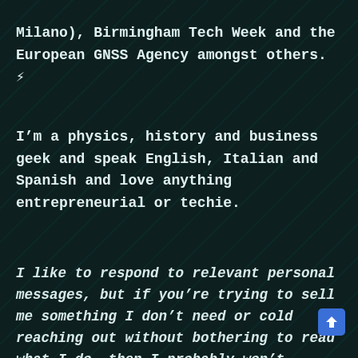Milano), Birmingham Tech Week and the European GNSS Agency amongst others. ⚡
I'm a physics, history and business geek and speak English, Italian and Spanish and love anything entrepreneurial or techie.
I like to respond to relevant personal messages, but if you're trying to sell me something I don't need or cold reaching out without bothering to read what I do, then I probably won't —also, please don't pitch me your startup here, it's inefficient, use the Silicon Roundabout Ventures website instead